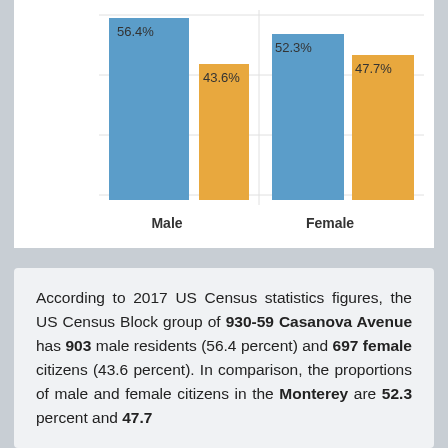[Figure (grouped-bar-chart): Male and Female population comparison]
According to 2017 US Census statistics figures, the US Census Block group of 930-59 Casanova Avenue has 903 male residents (56.4 percent) and 697 female citizens (43.6 percent). In comparison, the proportions of male and female citizens in the Monterey are 52.3 percent and 47.7